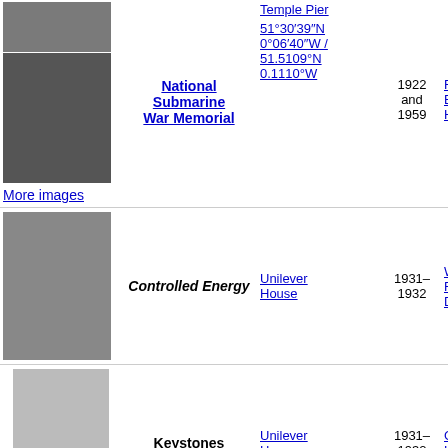[Figure (photo): Photo of National Submarine War Memorial plaque]
More images
National Submarine War Memorial
Temple Pier
51°30′39″N 0°06′40″W / 51.5109°N 0.1110°W
1922 and 1959
Fre Bro Hitc
[Figure (photo): Photo of Controlled Energy sculpture at Unilever House]
Controlled Energy
Unilever House
1931–1932
Will Reid Dick
[Figure (photo): Photo of Keystones sculpture at Unilever House]
Keystones
Unilever House
1931–1932
Gilb Led
[Figure (photo): Photo of Two lamp standards at Unilever House]
Two lamp standards
Unilever House
1931–1932
Wal Gilb